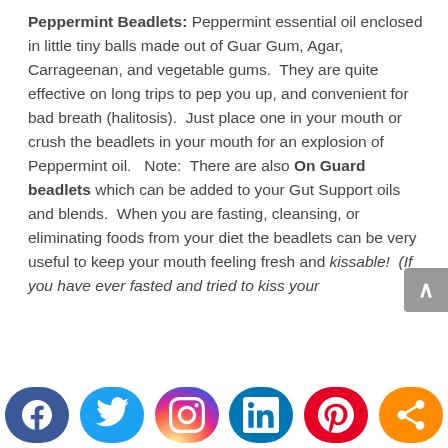Peppermint Beadlets: Peppermint essential oil enclosed in little tiny balls made out of Guar Gum, Agar, Carrageenan, and vegetable gums. They are quite effective on long trips to pep you up, and convenient for bad breath (halitosis). Just place one in your mouth or crush the beadlets in your mouth for an explosion of Peppermint oil. Note: There are also On Guard beadlets which can be added to your Gut Support oils and blends. When you are fasting, cleansing, or eliminating foods from your diet the beadlets can be very useful to keep your mouth feeling fresh and kissable! (If you have ever fasted and tried to kiss your partner or kids, they will tell you how bad your breath is).
[Figure (infographic): Social media sharing bar with buttons for Facebook, Twitter, Instagram, LinkedIn, Pinterest, and Share]